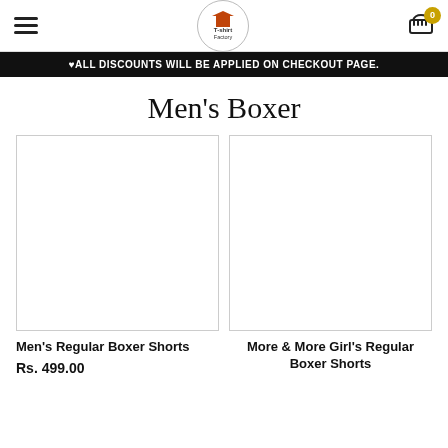T-shirt Factory — navigation header with hamburger menu, logo, and cart icon (badge: 0)
♥ALL DISCOUNTS WILL BE APPLIED ON CHECKOUT PAGE.
Men's Boxer
[Figure (photo): Product image placeholder box for Men's Regular Boxer Shorts (blank white rectangle with border)]
Men's Regular Boxer Shorts
Rs. 499.00
[Figure (photo): Product image placeholder box for More & More Girl's Regular Boxer Shorts (blank white rectangle with border)]
More & More Girl's Regular Boxer Shorts